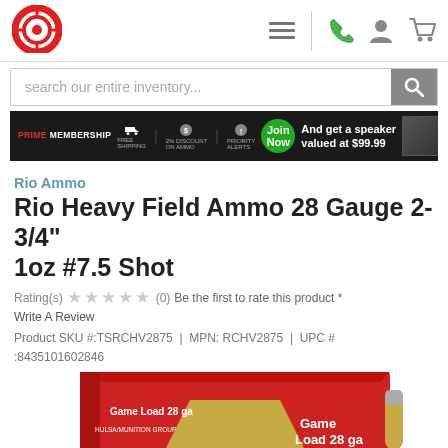[Figure (logo): Red target/crosshair logo icon (circle with crosshair lines, red color)]
[Figure (infographic): Navigation bar with hamburger menu icon, phone icon, user/account icon, and shopping cart icon]
search our entire inventory...
[Figure (infographic): Prime Membership banner ad with dark background: 'PRIME MEMBERSHIP | Free Shipping | 2% Discount on Ammo | Priority Alerts | Join Now | And get a speaker valued at $99.99 | LIMITED TIME OFFER']
Rio Ammo
Rio Heavy Field Ammo 28 Gauge 2-3/4" 1oz #7.5 Shot
Rating(s) ☆☆☆☆☆ (0)  Be the first to rate this product * Write A Review
Product SKU #:TSRCHV2875  |  MPN: RCHV2875  |  UPC #:8435101602846
[Figure (photo): Photo of a red box of Rio Heavy Field Ammo 'Game Load 28 ga' shotgun shells with gold/tan colored shotgun shell visible]